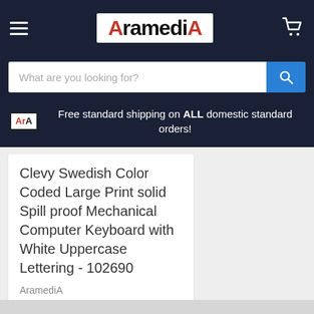[Figure (logo): AramediA logo with red A and A on dark navy header bar, with hamburger menu icon on left and cart icon on right]
What are you looking for?
Free standard shipping on ALL domestic standard orders!
Clevy Swedish Color Coded Large Print solid Spill proof Mechanical Computer Keyboard with White Uppercase Lettering - 102690
AramediA